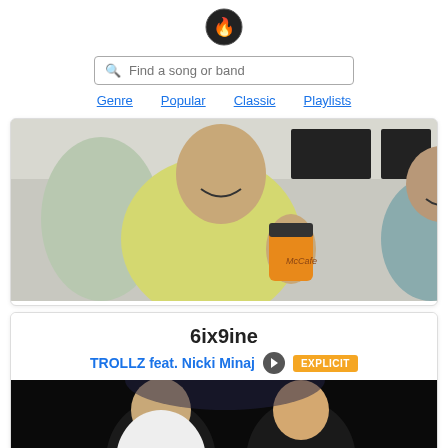[Figure (logo): Flame/fire logo icon in a dark circular badge]
Find a song or band
Genre   Popular   Classic   Playlists
[Figure (photo): Person smiling and holding a yellow McCafe cup in what appears to be a McDonald's restaurant, surrounded by other people]
6ix9ine
TROLLZ feat. Nicki Minaj  EXPLICIT
[Figure (photo): Two performers on a dark stage, one wearing white]